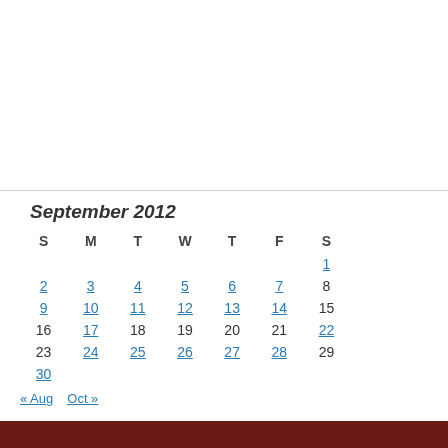| S | M | T | W | T | F | S |
| --- | --- | --- | --- | --- | --- | --- |
|  |  |  |  |  |  | 1 |
| 2 | 3 | 4 | 5 | 6 | 7 | 8 |
| 9 | 10 | 11 | 12 | 13 | 14 | 15 |
| 16 | 17 | 18 | 19 | 20 | 21 | 22 |
| 23 | 24 | 25 | 26 | 27 | 28 | 29 |
| 30 |  |  |  |  |  |  |
« Aug   Oct »